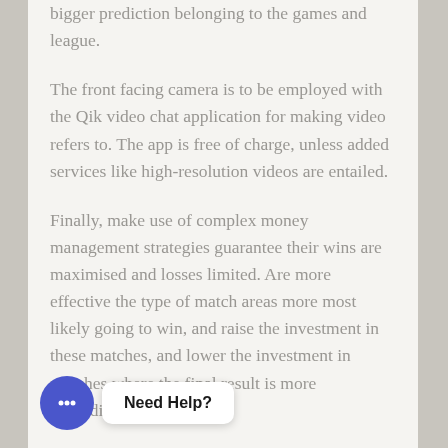bigger prediction belonging to the games and league.
The front facing camera is to be employed with the Qik video chat application for making video refers to. The app is free of charge, unless added services like high-resolution videos are entailed.
Finally, make use of complex money management strategies guarantee their wins are maximised and losses limited. Are more effective the type of match areas more most likely going to win, and raise the investment in these matches, and lower the investment in matches where the final result is more unpredictable.